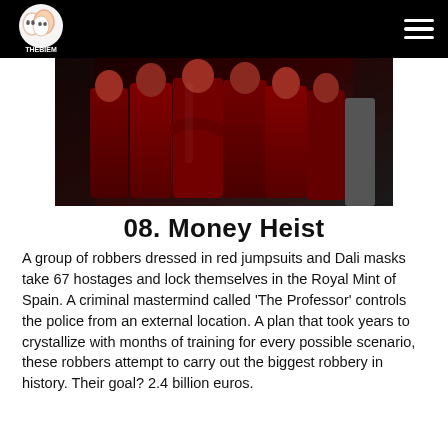THEBIEM
[Figure (photo): People dressed in red jumpsuits standing close together, dark moody scene]
08. Money Heist
A group of robbers dressed in red jumpsuits and Dali masks take 67 hostages and lock themselves in the Royal Mint of Spain. A criminal mastermind called ‘The Professor’ controls the police from an external location. A plan that took years to crystallize with months of training for every possible scenario, these robbers attempt to carry out the biggest robbery in history. Their goal? 2.4 billion euros.